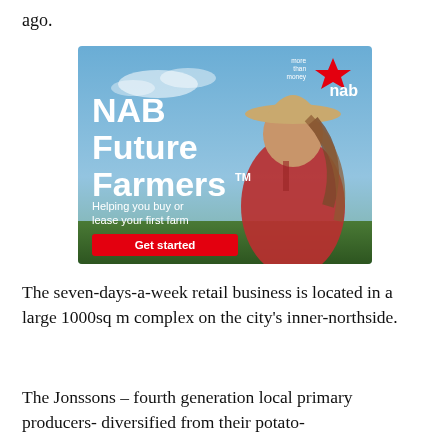ago.
[Figure (advertisement): NAB Future Farmers bank advertisement. Shows a young woman in a red shirt and hat outdoors. Text: 'NAB Future Farmers™ Helping you buy or lease your first farm. Get started.' NAB logo with red star and 'more than money' tagline in top right.]
The seven-days-a-week retail business is located in a large 1000sq m complex on the city's inner-northside.
The Jonssons – fourth generation local primary producers- diversified from their potato-